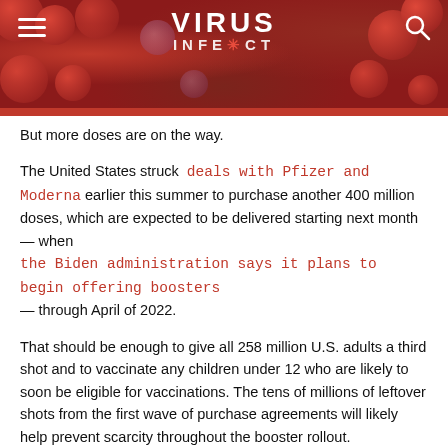[Figure (photo): Website header banner with red blood cell microscopy background image. Shows 'VIRUS INFECT CLUB' logo with gear/virus icon in center, hamburger menu icon on left, search icon on right.]
But more doses are on the way.
The United States struck deals with Pfizer and Moderna earlier this summer to purchase another 400 million doses, which are expected to be delivered starting next month — when the Biden administration says it plans to begin offering boosters — through April of 2022.
That should be enough to give all 258 million U.S. adults a third shot and to vaccinate any children under 12 who are likely to soon be eligible for vaccinations. The tens of millions of leftover shots from the first wave of purchase agreements will likely help prevent scarcity throughout the booster rollout.